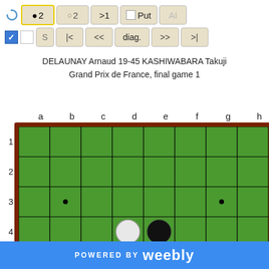[Figure (screenshot): Game application toolbar with buttons: black stone counter showing 2 (highlighted), white stone counter showing 2, >1, Put checkbox, AI button (grayed), S, |<, <<, diag., >>, >| navigation buttons]
DELAUNAY Arnaud 19-45 KASHIWABARA Takuji
Grand Prix de France, final game 1
[Figure (other): Reversi/Othello board (8x8 grid) with column labels a-h and row labels 1-7 (partially visible). Board shows 4 pieces in center: white at d4, black at e4, black at d5, white at e5. Board has green playing surface with dark brown frame. Star points marked at b3, g3, b7, g7.]
POWERED BY weebly